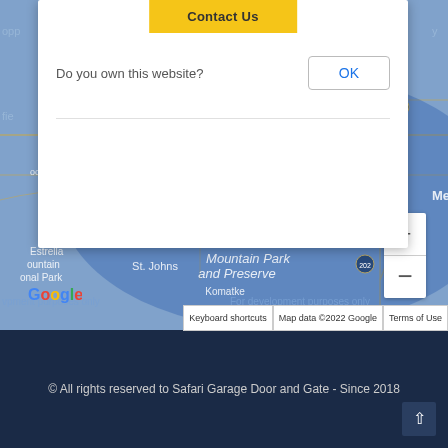[Figure (screenshot): Google Maps screenshot showing Phoenix metro area including Tolleson, Tempe, Estrella Mountain Park, South Mountain Park and Preserve, St. Johns, Komatke. Blue shaded service area overlay. Map has zoom in/out controls. Development purposes watermarks shown. Google logo and map attribution bar visible.]
Do you own this website?
Contact Us
OK
Keyboard shortcuts | Map data ©2022 Google | Terms of Use
© All rights reserved to Safari Garage Door and Gate - Since 2018